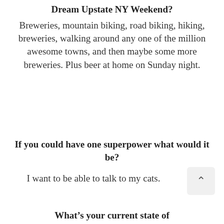Dream Upstate NY Weekend?
Breweries, mountain biking, road biking, hiking, breweries, walking around any one of the million awesome towns, and then maybe some more breweries. Plus beer at home on Sunday night.
If you could have one superpower what would it be?
I want to be able to talk to my cats.
What’s your current state of